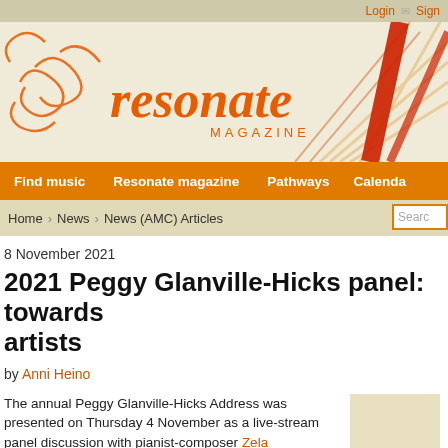Login  Sign
[Figure (logo): Resonate Magazine logo with orange decorative burst lines on beige background]
Find music  Resonate magazine  Pathways  Calendar
Home › News › News (AMC) Articles   Search
8 November 2021
2021 Peggy Glanville-Hicks panel: towards artists
by Anni Heino
The annual Peggy Glanville-Hicks Address was presented on Thursday 4 November as a live-stream panel discussion with pianist-composer Zela Margossian, composer-percussionist